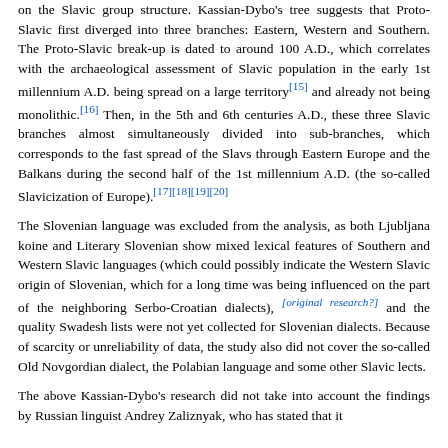on the Slavic group structure. Kassian-Dybo's tree suggests that Proto-Slavic first diverged into three branches: Eastern, Western and Southern. The Proto-Slavic break-up is dated to around 100 A.D., which correlates with the archaeological assessment of Slavic population in the early 1st millennium A.D. being spread on a large territory[15] and already not being monolithic.[16] Then, in the 5th and 6th centuries A.D., these three Slavic branches almost simultaneously divided into sub-branches, which corresponds to the fast spread of the Slavs through Eastern Europe and the Balkans during the second half of the 1st millennium A.D. (the so-called Slavicization of Europe).[17][18][19][20]
The Slovenian language was excluded from the analysis, as both Ljubljana koine and Literary Slovenian show mixed lexical features of Southern and Western Slavic languages (which could possibly indicate the Western Slavic origin of Slovenian, which for a long time was being influenced on the part of the neighboring Serbo-Croatian dialects), [original research?] and the quality Swadesh lists were not yet collected for Slovenian dialects. Because of scarcity or unreliability of data, the study also did not cover the so-called Old Novgordian dialect, the Polabian language and some other Slavic lects.
The above Kassian-Dybo's research did not take into account the findings by Russian linguist Andrey Zaliznyak, who has stated that it...